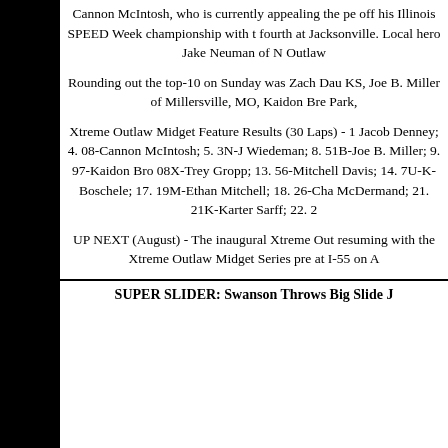Cannon McIntosh, who is currently appealing the pe... off his Illinois SPEED Week championship with t... fourth at Jacksonville. Local hero Jake Neuman of N... Outlaw
Rounding out the top-10 on Sunday was Zach Dau... KS, Joe B. Miller of Millersville, MO, Kaidon Bre... Park,
Xtreme Outlaw Midget Feature Results (30 Laps) - 1... Jacob Denney; 4. 08-Cannon McIntosh; 5. 3N-J... Wiedeman; 8. 51B-Joe B. Miller; 9. 97-Kaidon Bro... 08X-Trey Gropp; 13. 56-Mitchell Davis; 14. 7U-K... Boschele; 17. 19M-Ethan Mitchell; 18. 26-Cha... McDermand; 21. 21K-Karter Sarff; 22.
UP NEXT (August) - The inaugural Xtreme Out... resuming with the Xtreme Outlaw Midget Series pre... at I-55 on A
SUPER SLIDER: Swanson Throws Big Slide J...